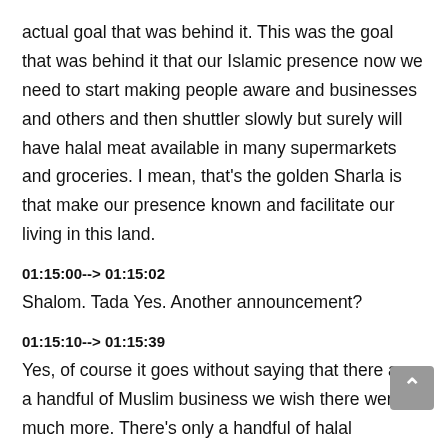actual goal that was behind it. This was the goal that was behind it that our Islamic presence now we need to start making people aware and businesses and others and then shuttler slowly but surely will have halal meat available in many supermarkets and groceries. I mean, that's the golden Sharla is that make our presence known and facilitate our living in this land.
01:15:00--> 01:15:02
Shalom. Tada Yes. Another announcement?
01:15:10--> 01:15:39
Yes, of course it goes without saying that there are a handful of Muslim business we wish there were much more. There's only a handful of halal businesses, we definitely need to support them as well in their efforts and they've been doing this much longer than than